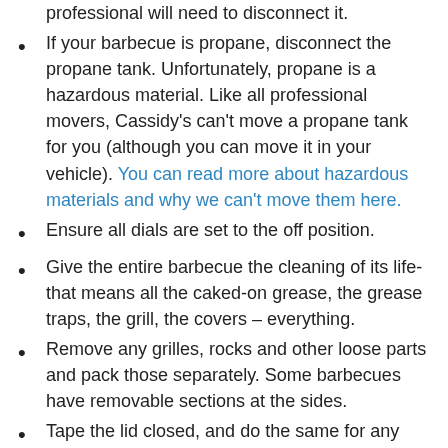professional will need to disconnect it. (partial/truncated at top)
If your barbecue is propane, disconnect the propane tank. Unfortunately, propane is a hazardous material. Like all professional movers, Cassidy’s can’t move a propane tank for you (although you can move it in your vehicle). You can read more about hazardous materials and why we can’t move them here.
Ensure all dials are set to the off position.
Give the entire barbecue the cleaning of its life- that means all the caked-on grease, the grease traps, the grill, the covers – everything.
Remove any grilles, rocks and other loose parts and pack those separately. Some barbecues have removable sections at the sides.
Tape the lid closed, and do the same for any doors that can’t be removed. This may not be your most heavy appliance, but it will take (truncated)